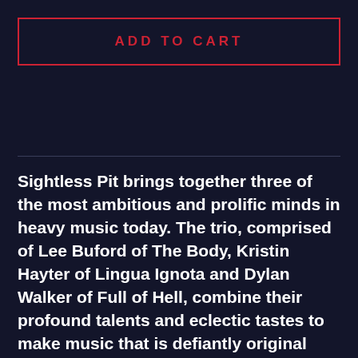ADD TO CART
Sightless Pit brings together three of the most ambitious and prolific minds in heavy music today. The trio, comprised of Lee Buford of The Body, Kristin Hayter of Lingua Ignota and Dylan Walker of Full of Hell, combine their profound talents and eclectic tastes to make music that is defiantly original and emotionally sublime. Grave of a Dog was crafted without any clear rules or guidelines beyond their desire to work with one another. The central pillar to what coheres the three into a unified voice throughout the album is